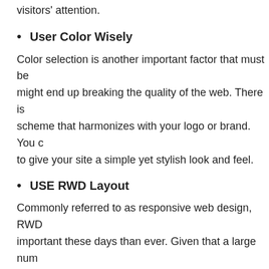visitors' attention.
User Color Wisely
Color selection is another important factor that must be might end up breaking the quality of the web. There is scheme that harmonizes with your logo or brand. You c to give your site a simple yet stylish look and feel.
USE RWD Layout
Commonly referred to as responsive web design, RWD important these days than ever. Given that a large num mobile gadgets to surf the web, it is important to give th the screen-size of the device they are using.
This entry was posted in website design and tagged Web Design by Al
Tweet  Share